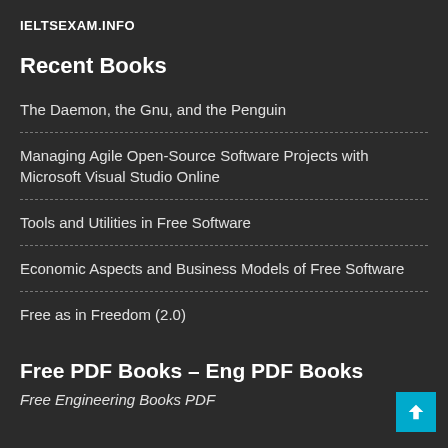IELTSEXAM.INFO
Recent Books
The Daemon, the Gnu, and the Penguin
Managing Agile Open-Source Software Projects with Microsoft Visual Studio Online
Tools and Utilities in Free Software
Economic Aspects and Business Models of Free Software
Free as in Freedom (2.0)
Free PDF Books – Eng PDF Books
Free Engineering Books PDF